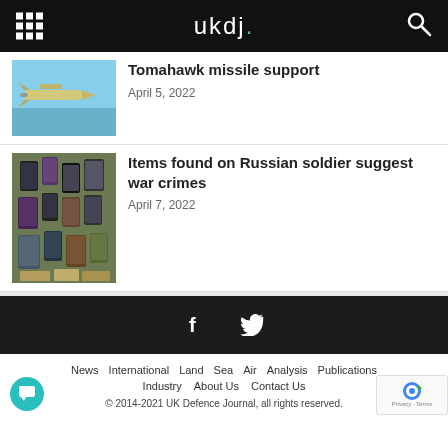ukdj.
[Figure (photo): Tomahawk cruise missile in flight against blue sky]
Tomahawk missile support
April 5, 2022
[Figure (photo): Aerial view of items found on Russian soldier including phones and electronics]
Items found on Russian soldier suggest war crimes
April 7, 2022
News  International  Land  Sea  Air  Analysis  Publications  Industry  About Us  Contact Us  © 2014-2021 UK Defence Journal, all rights reserved.